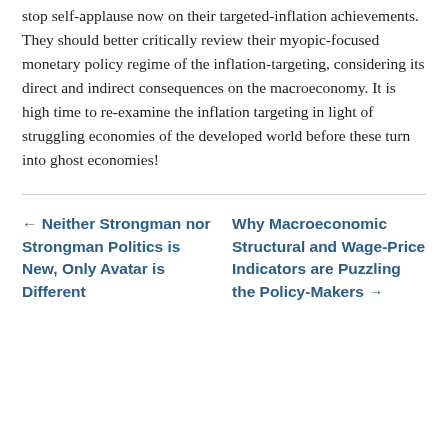stop self-applause now on their targeted-inflation achievements. They should better critically review their myopic-focused monetary policy regime of the inflation-targeting, considering its direct and indirect consequences on the macroeconomy. It is high time to re-examine the inflation targeting in light of struggling economies of the developed world before these turn into ghost economies!
← Neither Strongman nor Strongman Politics is New, Only Avatar is Different
Why Macroeconomic Structural and Wage-Price Indicators are Puzzling the Policy-Makers →